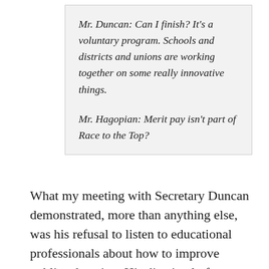Mr. Duncan: Can I finish? It's a voluntary program. Schools and districts and unions are working together on some really innovative things.

Mr. Hagopian: Merit pay isn't part of Race to the Top?
What my meeting with Secretary Duncan demonstrated, more than anything else, was his refusal to listen to educational professionals about how to improve public education. His dismissal of professional expertise has greatly contributed to the plummeting moral among